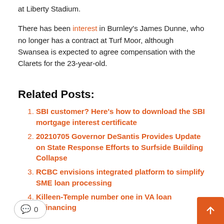at Liberty Stadium.
There has been interest in Burnley's James Dunne, who no longer has a contract at Turf Moor, although Swansea is expected to agree compensation with the Clarets for the 23-year-old.
Related Posts:
SBI customer? Here's how to download the SBI mortgage interest certificate
20210705 Governor DeSantis Provides Update on State Response Efforts to Surfside Building Collapse
RCBC envisions integrated platform to simplify SME loan processing
Killeen-Temple number one in VA loan refinancing